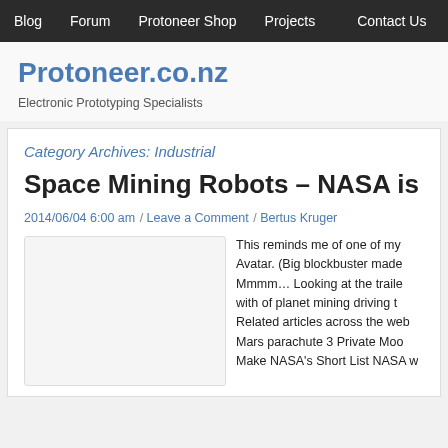Blog  Forum  Protoneer Shop  Projects  Contact Us
Protoneer.co.nz
Electronic Prototyping Specialists
Category Archives: Industrial
Space Mining Robots – NASA is already ont
2014/06/04 6:00 am / Leave a Comment / Bertus Kruger
[Figure (photo): Image placeholder for article thumbnail]
This reminds me of one of my Avatar. (Big blockbuster made Mmmm… Looking at the traile with of planet mining driving t Related articles across the web Mars parachute 3 Private Moo Make NASA's Short List NASA w